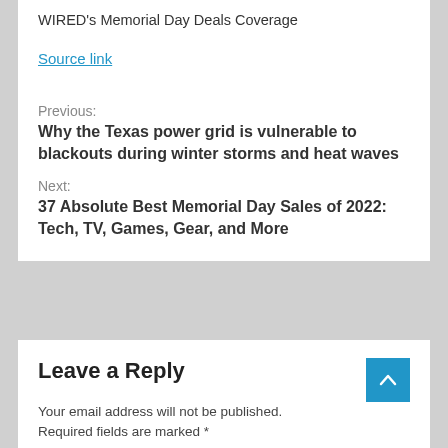WIRED's Memorial Day Deals Coverage
Source link
Previous:
Why the Texas power grid is vulnerable to blackouts during winter storms and heat waves
Next:
37 Absolute Best Memorial Day Sales of 2022: Tech, TV, Games, Gear, and More
Leave a Reply
Your email address will not be published. Required fields are marked *